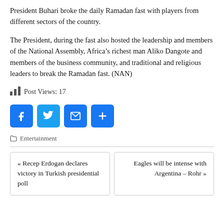President Buhari broke the daily Ramadan fast with players from different sectors of the country.
The President, during the fast also hosted the leadership and members of the National Assembly, Africa’s richest man Aliko Dangote and members of the business community, and traditional and religious leaders to break the Ramadan fast. (NAN)
Post Views: 17
[Figure (other): Social share buttons: Facebook, Twitter, Email, More]
□ Entertainment
« Recep Erdogan declares victory in Turkish presidential poll
Eagles will be intense with Argentina – Rohr »